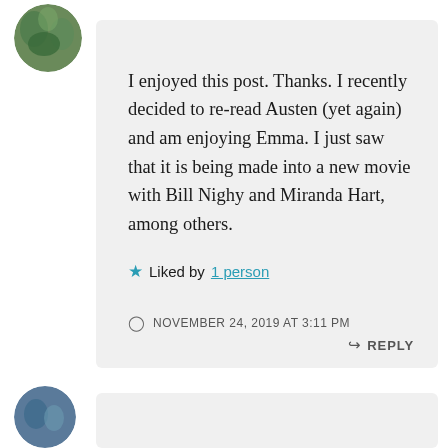[Figure (photo): Circular avatar photo showing greenery/nature at top left]
I enjoyed this post. Thanks. I recently decided to re-read Austen (yet again) and am enjoying Emma. I just saw that it is being made into a new movie with Bill Nighy and Miranda Hart, among others.
★ Liked by 1 person
NOVEMBER 24, 2019 AT 3:11 PM
↳ REPLY
[Figure (photo): Circular avatar photo at bottom left, partially visible]